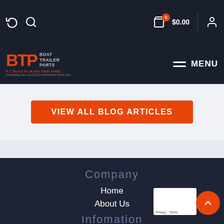BTP Boat Trailer Parts — Navigation bar with search, cart $0.00, and menu
[Figure (logo): BTP Boat Trailer Parts logo — orange BTP letters with BOAT TRAILER PARTS text, tagline #1 Source for all your trailer needs, powered by Outcast Watersports Inc.]
VIEW ALL BLOG ARTICLES
Company
Home
About Us
Contact Us
Outcast Watersports
Infomation
Shop Trailer Parts